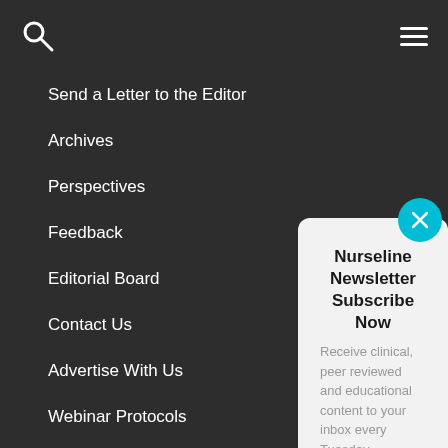Send a Letter to the Editor
Archives
Perspectives
Feedback
Editorial Board
Contact Us
Advertise With Us
Webinar Protocols
About
Nurseline Newsletter Subscribe Now
Receive clinical, peer reviewed and educational content to your inbox every Tuesday.
Email *
Submit